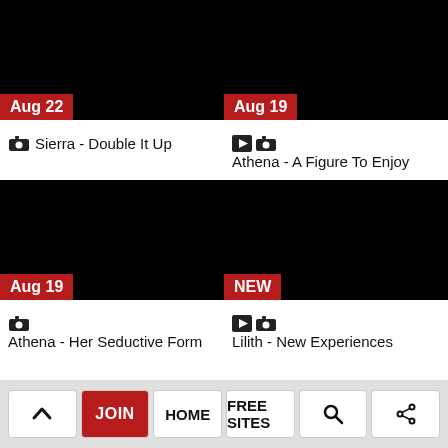[Figure (photo): Thumbnail image with black background and red date badge 'Aug 22']
Sierra - Double It Up
[Figure (photo): Thumbnail image with black background and red date badge 'Aug 19']
Athena - A Figure To Enjoy
[Figure (photo): Thumbnail image with black background and red date badge 'Aug 19']
Athena - Her Seductive Form
[Figure (photo): Thumbnail image with black background and red badge 'NEW']
Lilith - New Experiences
^ JOIN HOME FREE SITES search share